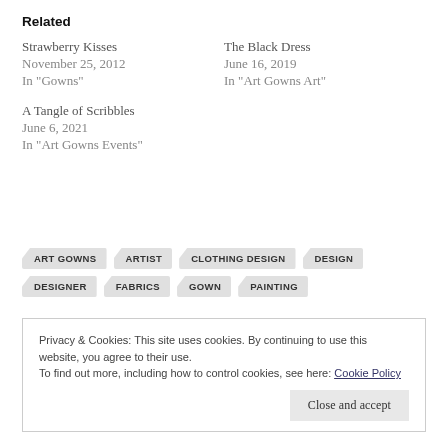Related
Strawberry Kisses
November 25, 2012
In "Gowns"
The Black Dress
June 16, 2019
In "Art Gowns Art"
A Tangle of Scribbles
June 6, 2021
In "Art Gowns Events"
ART GOWNS
ARTIST
CLOTHING DESIGN
DESIGN
DESIGNER
FABRICS
GOWN
PAINTING
Privacy & Cookies: This site uses cookies. By continuing to use this website, you agree to their use.
To find out more, including how to control cookies, see here: Cookie Policy
Close and accept